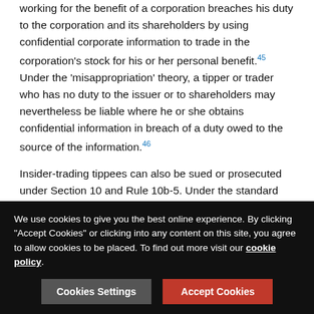working for the benefit of a corporation breaches his duty to the corporation and its shareholders by using confidential corporate information to trade in the corporation's stock for his or her personal benefit.45 Under the 'misappropriation' theory, a tipper or trader who has no duty to the issuer or to shareholders may nevertheless be liable where he or she obtains confidential information in breach of a duty owed to the source of the information.46
Insider-trading tippees can also be sued or prosecuted under Section 10 and Rule 10b-5. Under the standard established by the Supreme Court in Dirks v. SEC,47 a tippee is liable where: (1) an insider receives a 'direct or indirect personal benefit from the disclosure, such as a pecuniary gain or a reputational benefit that will translate into future earnings'; and (2) the tippee knew or had reason to know of the tipper's breach of duty to an issuer.48 As the Supreme Court reaffirmed in United
We use cookies to give you the best online experience. By clicking "Accept Cookies" or clicking into any content on this site, you agree to allow cookies to be placed. To find out more visit our cookie policy